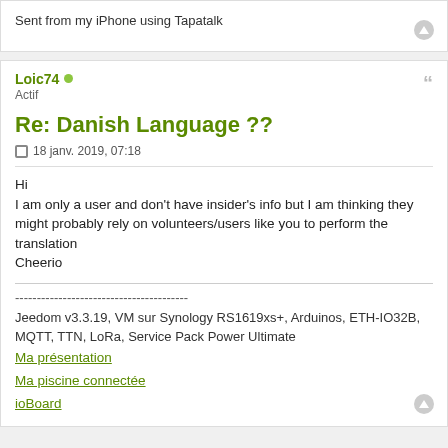Sent from my iPhone using Tapatalk
Loic74 • Actif
Re: Danish Language ??
18 janv. 2019, 07:18
Hi
I am only a user and don't have insider's info but I am thinking they might probably rely on volunteers/users like you to perform the translation
Cheerio
----------------------------------------
Jeedom v3.3.19, VM sur Synology RS1619xs+, Arduinos, ETH-IO32B, MQTT, TTN, LoRa, Service Pack Power Ultimate
Ma présentation
Ma piscine connectée
ioBoard